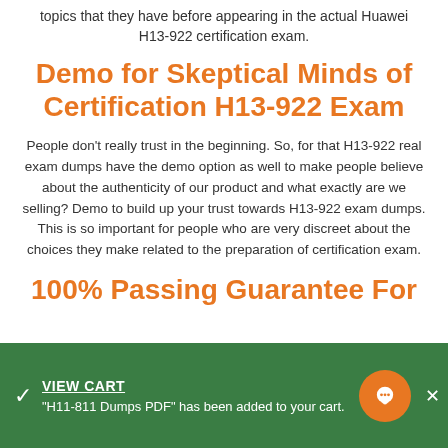topics that they have before appearing in the actual Huawei H13-922 certification exam.
Demo for Skeptical Minds of Certification H13-922 Exam
People don't really trust in the beginning. So, for that H13-922 real exam dumps have the demo option as well to make people believe about the authenticity of our product and what exactly are we selling? Demo to build up your trust towards H13-922 exam dumps. This is so important for people who are very discreet about the choices they make related to the preparation of certification exam.
100% Passing Guarantee For
VIEW CART
"H11-811 Dumps PDF" has been added to your cart.